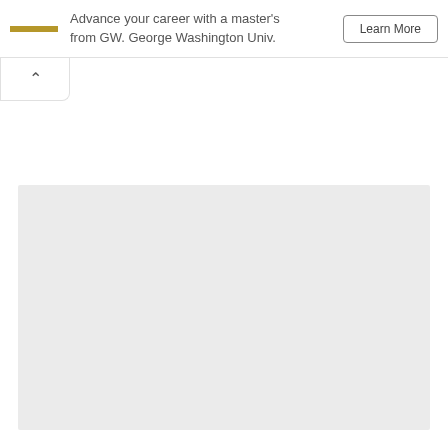Advance your career with a master's from GW. George Washington Univ.
[Figure (screenshot): Collapsed advertisement banner with GW George Washington University promotion, showing a gold bar logo, text about advancing career with a master's degree, and a call-to-action button. Below is a collapse/minimize tab with an upward chevron arrow. The lower portion of the page shows a large light gray content area.]